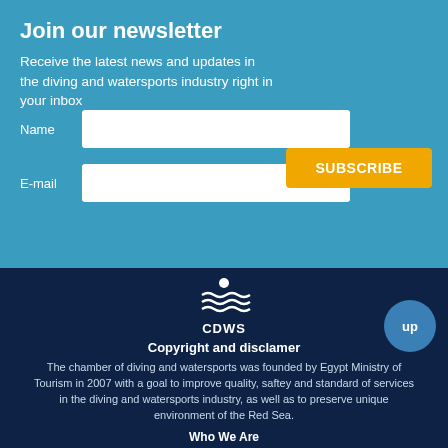Join our newsletter
Receive the latest news and updates in the diving and watersports industry right in your inbox
Name
E-mail
SUBSCRIBE
[Figure (logo): CDWS logo with circular water waves icon above the text 'CDWS']
Copyright and disclamer
The chamber of diving and watersports was founded by Egypt Ministry of Tourism in 2007 with a goal to improve quality, saftey and standard of services in the diving and watersports industry, as well as to preserve unique environment of the Red Sea.
Who We Are
Contact Us